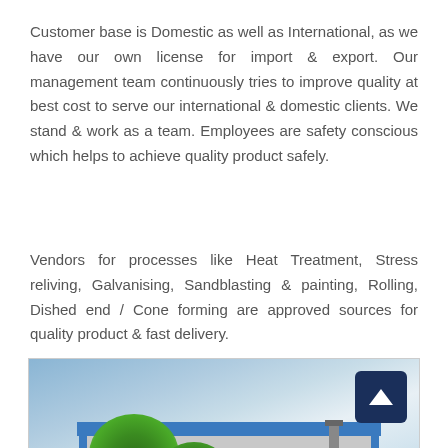Customer base is Domestic as well as International, as we have our own license for import & export. Our management team continuously tries to improve quality at best cost to serve our international & domestic clients. We stand & work as a team. Employees are safety conscious which helps to achieve quality product safely.
Vendors for processes like Heat Treatment, Stress reliving, Galvanising, Sandblasting & painting, Rolling, Dished end / Cone forming are approved sources for quality product & fast delivery.
[Figure (photo): Exterior photo of an industrial building/factory with blue roof trim, trees in front, a communication tower in the background, a dark blue up-arrow button in the top right corner, and a chat widget at the bottom right reading 'Any Question? We are Online... Ask Now' on an orange background.]